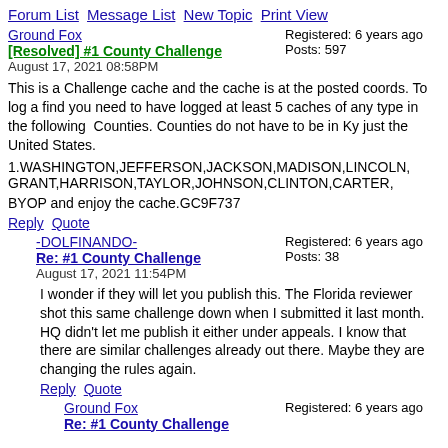Forum List  Message List  New Topic  Print View
Ground Fox
[Resolved] #1 County Challenge
August 17, 2021 08:58PM
Registered: 6 years ago
Posts: 597
This is a Challenge cache and the cache is at the posted coords. To log a find you need to have logged at least 5 caches of any type in the following  Counties. Counties do not have to be in Ky just the United States.
1.WASHINGTON,JEFFERSON,JACKSON,MADISON,LINCOLN,GRANT,HARRISON,TAYLOR,JOHNSON,CLINTON,CARTER,
BYOP and enjoy the cache.GC9F737
Reply  Quote
-DOLFINANDO-
Re: #1 County Challenge
August 17, 2021 11:54PM
Registered: 6 years ago
Posts: 38
I wonder if they will let you publish this. The Florida reviewer shot this same challenge down when I submitted it last month. HQ didn't let me publish it either under appeals. I know that there are similar challenges already out there. Maybe they are changing the rules again.
Reply  Quote
Ground Fox
Re: #1 County Challenge
Registered: 6 years ago